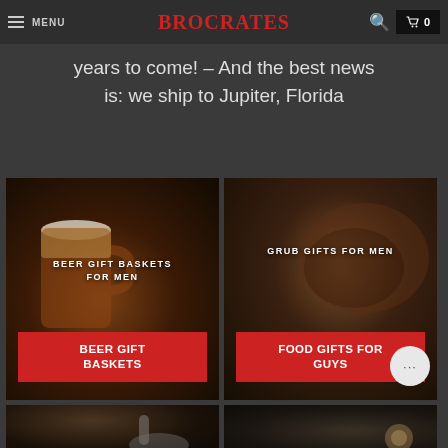MENU | BROCRATES | 🔍 | 🛒 0
years to come! – And the best news is: we ship to Jupiter, Florida
[Figure (screenshot): Beer Gift Baskets for Men product card with beer mug photo and red button labeled BEER GIFT BASKETS]
[Figure (screenshot): Grub Gifts for Men product card showing steak/food photo and red button labeled FOOD GIFTS FOR GUYS]
[Figure (screenshot): Bottom left product card - whiskey/spirits themed, partially visible]
[Figure (screenshot): Bottom right product card - coffee themed, partially visible]